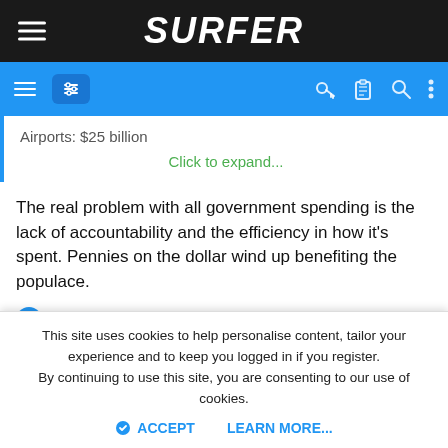SURFER
Airports: $25 billion
Click to expand...
The real problem with all government spending is the lack of accountability and the efficiency in how it's spent. Pennies on the dollar wind up benefiting the populace.
grapedrink and Ifallalot
sussle
This site uses cookies to help personalise content, tailor your experience and to keep you logged in if you register.
By continuing to use this site, you are consenting to our use of cookies.
ACCEPT   LEARN MORE...